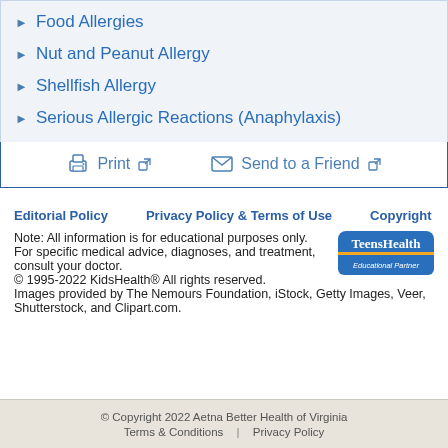Food Allergies
Nut and Peanut Allergy
Shellfish Allergy
Serious Allergic Reactions (Anaphylaxis)
Print  Send to a Friend
Editorial Policy   Privacy Policy & Terms of Use   Copyright
Note: All information is for educational purposes only. For specific medical advice, diagnoses, and treatment, consult your doctor.
© 1995-2022 KidsHealth® All rights reserved.
Images provided by The Nemours Foundation, iStock, Getty Images, Veer, Shutterstock, and Clipart.com.
© Copyright 2022 Aetna Better Health of Virginia
Terms & Conditions | Privacy Policy